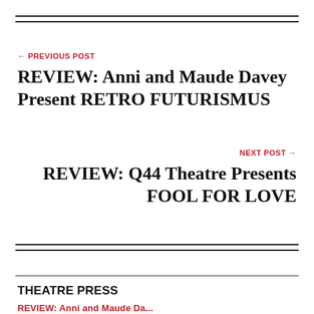← PREVIOUS POST
REVIEW: Anni and Maude Davey Present RETRO FUTURISMUS
NEXT POST →
REVIEW: Q44 Theatre Presents FOOL FOR LOVE
THEATRE PRESS